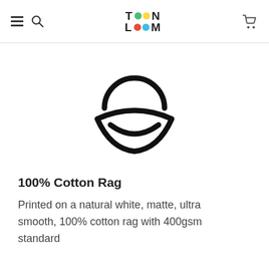TOON LOOM
[Figure (logo): Organic/cotton leaf icon — a circle arc on top with a leaf/petal shape below, all in black outline style]
100% Cotton Rag
Printed on a natural white, matte, ultra smooth, 100% cotton rag with 400gsm standard